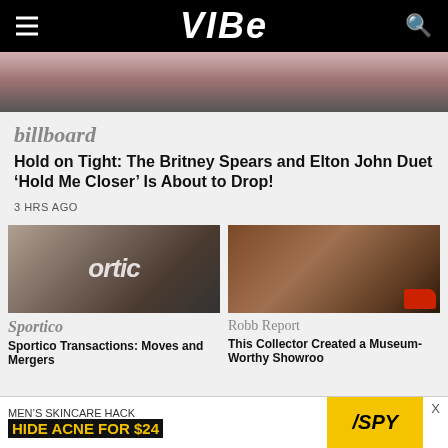VIBE
[Figure (photo): Hero image showing people at an event, cropped torso view]
billboard
Hold on Tight: The Britney Spears and Elton John Duet ‘Hold Me Closer’ Is About to Drop!
3 HRS AGO
[Figure (photo): Sportico article image with stylized text overlay reading 'Sportico' over a crowd scene]
Sportico
Sportico Transactions: Moves and Mergers
[Figure (photo): Robb Report article image showing a warmly lit restaurant or showroom with a red classic car]
Robb Report
This Collector Created a Museum-Worthy Showroo
MEN’S SKINCARE HACK HIDE ACNE FOR $24 /SPY